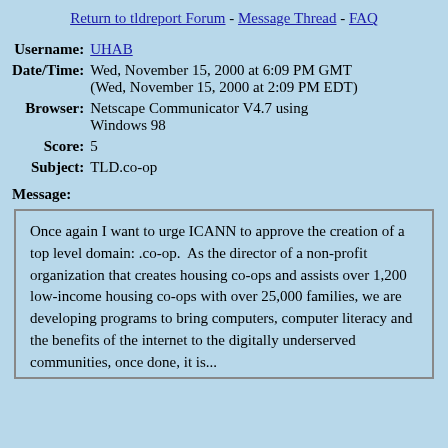Return to tldreport Forum - Message Thread - FAQ
Username: UHAB
Date/Time: Wed, November 15, 2000 at 6:09 PM GMT (Wed, November 15, 2000 at 2:09 PM EDT)
Browser: Netscape Communicator V4.7 using Windows 98
Score: 5
Subject: TLD.co-op
Message:
Once again I want to urge ICANN to approve the creation of a top level domain: .co-op. As the director of a non-profit organization that creates housing co-ops and assists over 1,200 low-income housing co-ops with over 25,000 families, we are developing programs to bring computers, computer literacy and the benefits of the internet to the digitally underserved communities, once done, it is...